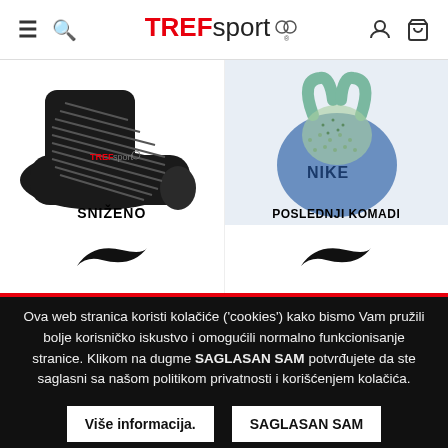TREFsport — navigation header with hamburger menu, search, logo, user and cart icons
[Figure (photo): Nike running sock (black with grey stripes) product photo with TREFsport watermark and SNIŽENO label, Nike swoosh below]
[Figure (photo): Nike gym bag (blue and green patterned) product photo with POSLEDNJI KOMADI label, Nike swoosh below]
Ova web stranica koristi kolačiće ('cookies') kako bismo Vam pružili bolje korisničko iskustvo i omogućili normalno funkcionisanje stranice. Klikom na dugme SAGLASAN SAM potvrđujete da ste saglasni sa našom politikom privatnosti i korišćenjem kolačića.
Više informacija.
SAGLASAN SAM